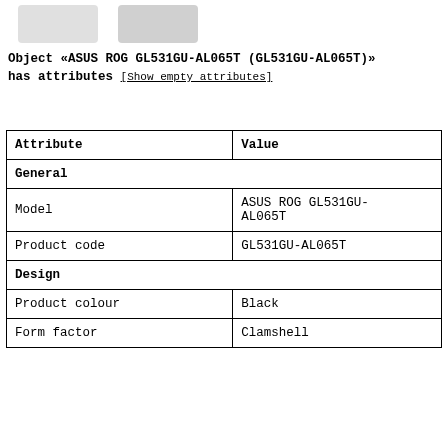[Figure (photo): Partial product images at top of page (cropped laptop/device images)]
Object «ASUS ROG GL531GU-AL065T (GL531GU-AL065T)» has attributes [Show empty attributes]
| Attribute | Value |
| --- | --- |
| General |  |
| Model | ASUS ROG GL531GU-AL065T |
| Product code | GL531GU-AL065T |
| Design |  |
| Product colour | Black |
| Form factor | Clamshell |